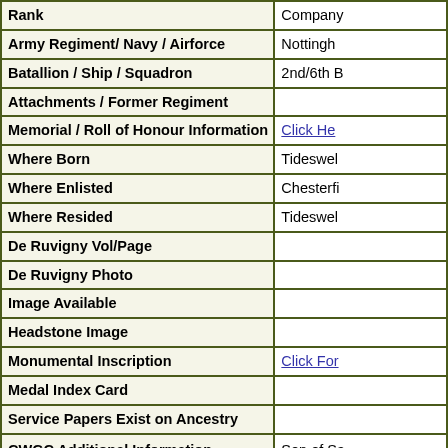| Field | Value |
| --- | --- |
| Rank | Company… |
| Army Regiment/ Navy / Airforce | Nottingh… |
| Batallion / Ship / Squadron | 2nd/6th B… |
| Attachments / Former Regiment |  |
| Memorial / Roll of Honour Information | Click He… |
| Where Born | Tideswel… |
| Where Enlisted | Chesterfi… |
| Where Resided | Tideswel… |
| De Ruvigny Vol/Page |  |
| De Ruvigny Photo |  |
| Image Available |  |
| Headstone Image |  |
| Monumental Inscription | Click For… |
| Medal Index Card |  |
| Service Papers Exist on Ancestry |  |
| CWGC Additional Information | Son of Sa… of Sarah … |
| CWGC Grave / Memorial | Thiepval… |
| Prisoner of War |  |
| Newspaper Clipping Date |  |